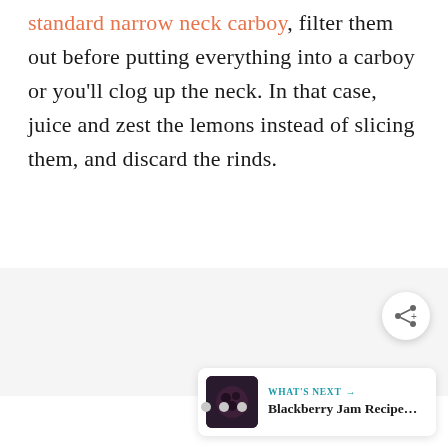standard narrow neck carboy, filter them out before putting everything into a carboy or you'll clog up the neck. In that case, juice and zest the lemons instead of slicing them, and discard the rinds.
[Figure (other): Gray advertisement/content placeholder area]
[Figure (other): Share button (circular white button with share icon)]
[Figure (other): What's Next card showing Blackberry Jam Recipe with a dark berry image thumbnail]